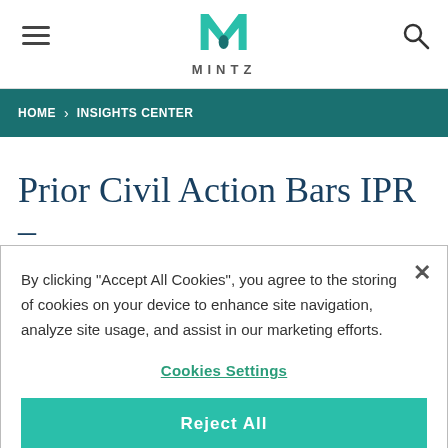MINTZ logo and navigation
HOME › INSIGHTS CENTER
Prior Civil Action Bars IPR –
By clicking "Accept All Cookies", you agree to the storing of cookies on your device to enhance site navigation, analyze site usage, and assist in our marketing efforts.
Cookies Settings
Reject All